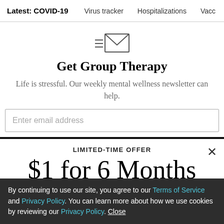Latest: COVID-19 | Virus tracker | Hospitalizations | Vacc
[Figure (illustration): Newsletter envelope icon with lines representing text]
Get Group Therapy
Life is stressful. Our weekly mental wellness newsletter can help.
Enter email address
LIMITED-TIME OFFER
$1 for 6 Months
SUBSCRIBE NOW
By continuing to use our site, you agree to our Terms of Service and Privacy Policy. You can learn more about how we use cookies by reviewing our Privacy Policy. Close